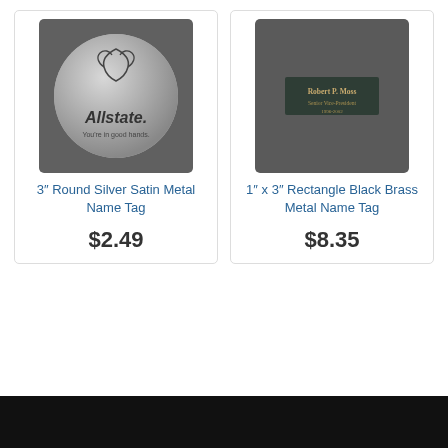[Figure (photo): 3 inch round silver satin metal name tag with Allstate logo and text 'You're in good hands.']
3″ Round Silver Satin Metal Name Tag
$2.49
[Figure (photo): 1 inch x 3 inch rectangle black brass metal name tag with text 'Robert P. Moss, Senior Vice President, 1996-2002']
1″ x 3″ Rectangle Black Brass Metal Name Tag
$8.35